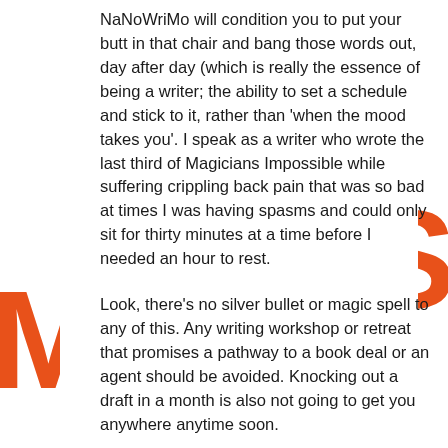NaNoWriMo will condition you to put your butt in that chair and bang those words out, day after day (which is really the essence of being a writer; the ability to set a schedule and stick to it, rather than 'when the mood takes you'. I speak as a writer who wrote the last third of Magicians Impossible while suffering crippling back pain that was so bad at times I was having spasms and could only sit for thirty minutes at a time before I needed an hour to rest.
Look, there's no silver bullet or magic spell to any of this. Any writing workshop or retreat that promises a pathway to a book deal or an agent should be avoided. Knocking out a draft in a month is also not going to get you anywhere anytime soon.
I say all of this because I know there are aspiring writers out there without the means to attend a workshop or a retreat. Without the time to NaNoWriMo themselves in November. The parents with kids, the adults with minimum wage jobs. In these very uncertain times, hunkering down with your nose to the grindstone isn't just work; it's survival. And I'd hate to see someone struggling to make